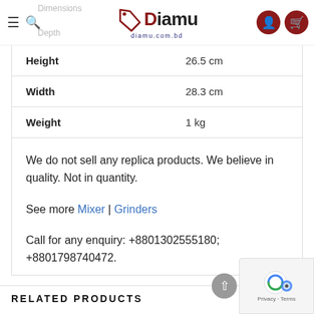Diamu – diamu.com.bd
|  |  |
| --- | --- |
| Height | 26.5 cm |
| Width | 28.3 cm |
| Weight | 1 kg |
We do not sell any replica products. We believe in quality. Not in quantity.
See more Mixer | Grinders
Call for any enquiry: +8801302555180; +8801798740472.
RELATED PRODUCTS